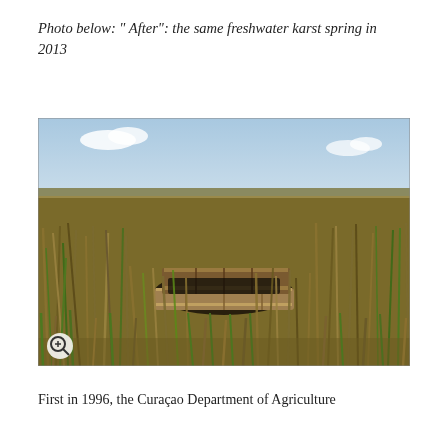Photo below: " After": the same freshwater karst spring in 2013
[Figure (photo): Photograph of a freshwater karst spring surrounded by tall dry and green grasses, with a wooden cover/lid visible in the center foreground. The background shows a flat open landscape under a partly cloudy sky. A zoom icon is visible in the bottom-left corner of the photo.]
First in 1996, the Curaçao Department of Agriculture